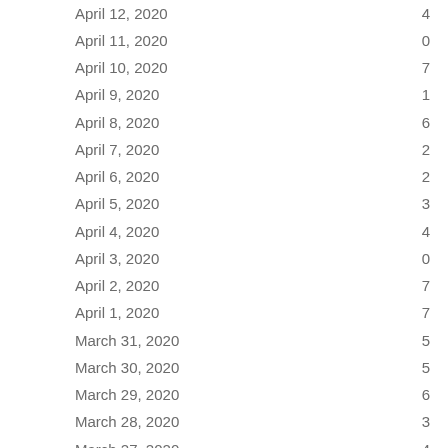| Date | Value |
| --- | --- |
| April 12, 2020 | 4 |
| April 11, 2020 | 0 |
| April 10, 2020 | 7 |
| April 9, 2020 | 1 |
| April 8, 2020 | 6 |
| April 7, 2020 | 2 |
| April 6, 2020 | 2 |
| April 5, 2020 | 3 |
| April 4, 2020 | 4 |
| April 3, 2020 | 0 |
| April 2, 2020 | 7 |
| April 1, 2020 | 7 |
| March 31, 2020 | 5 |
| March 30, 2020 | 5 |
| March 29, 2020 | 6 |
| March 28, 2020 | 3 |
| March 27, 2020 | 4 |
| March 26, 2020 | 0 |
| March 25, 2020 | 2 |
| March 24, 2020 | 4 |
| March 23, 2020 | 4 |
| March 22, 2020 | 3 |
| March 21, 2020 | 7 |
| March 20, 2020 | 4 |